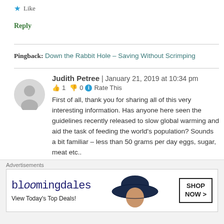★ Like
Reply
Pingback: Down the Rabbit Hole – Saving Without Scrimping
Judith Petree | January 21, 2019 at 10:34 pm
👍 1 👎 0 ℹ Rate This
First of all, thank you for sharing all of this very interesting information. Has anyone here seen the guidelines recently released to slow global warming and aid the task of feeding the world's population? Sounds a bit familiar – less than 50 grams per day eggs, sugar, meat etc..
[Figure (infographic): Bloomingdales advertisement banner: 'View Today's Top Deals!' with SHOP NOW > button and woman in wide-brim hat]